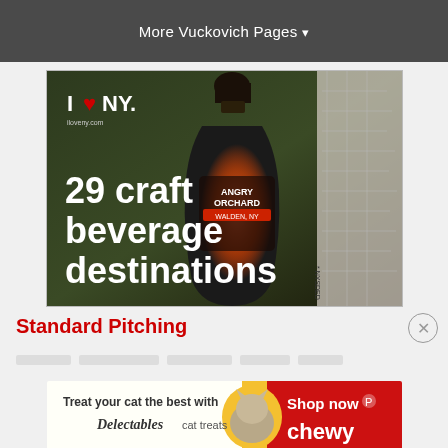More Vuckovich Pages ▼
[Figure (photo): I Love NY advertisement banner showing a large amber glass jug/growler with Angry Orchard Walden NY branding. Text overlay reads '29 craft beverage destinations'. White I♥NY logo and iloveny.com in top left corner. NYSDED watermark on right side.]
Standard Pitching
[Figure (photo): Chewy.com advertisement banner: 'Treat your cat the best with Delectables cat treats – Shop now' with cat image and Chewy logo]